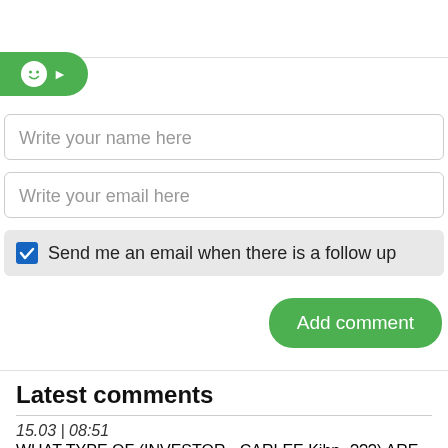[Figure (screenshot): Top white area with bottom border, part of a comment form UI]
[Figure (screenshot): Green rounded button with smiley face icon and right arrow]
Write your name here
Write your email here
Send me an email when there is a follow up
Add comment
Latest comments
15.03 | 08:51
WHAT TYPE OF (INVESTOR - CARLEE Kihn- ???) ARE YOU ...